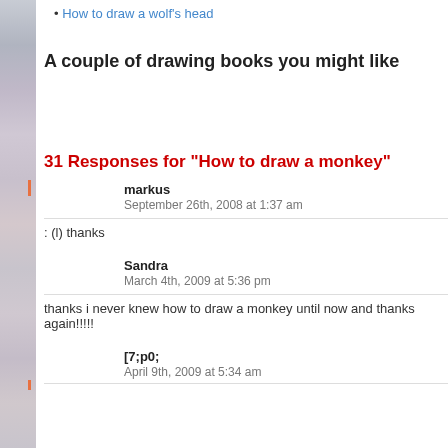How to draw a wolf's head
A couple of drawing books you might like
31 Responses for "How to draw a monkey"
markus
September 26th, 2008 at 1:37 am
: (l) thanks
Sandra
March 4th, 2009 at 5:36 pm
thanks i never knew how to draw a monkey until now and thanks again!!!!!
[7;p0;
April 9th, 2009 at 5:34 am